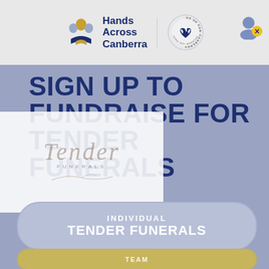[Figure (logo): Hands Across Canberra logo with text and Hands Up for Canberra Giving Day Marathon circular badge]
SIGN UP TO FUNDRAISE FOR TENDER FUNERALS
[Figure (logo): Tender Funerals logo with script lettering and feather/bird graphic]
INDIVIDUAL TENDER FUNERALS